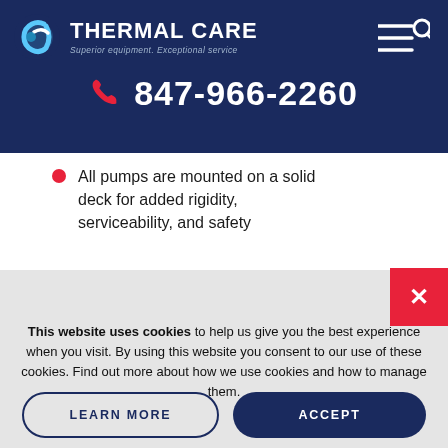[Figure (logo): Thermal Care logo with blue swirl icon and white text reading THERMAL CARE, tagline: Superior equipment. Exceptional service]
847-966-2260
All pumps are mounted on a solid deck for added rigidity, serviceability, and safety
This website uses cookies to help us give you the best experience when you visit. By using this website you consent to our use of these cookies. Find out more about how we use cookies and how to manage them.
LEARN MORE
ACCEPT